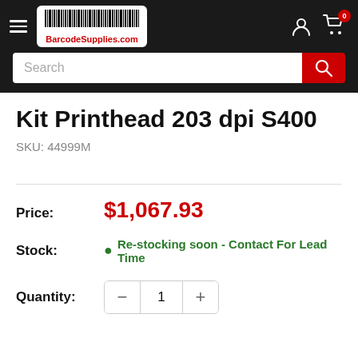[Figure (logo): BarcodeSupplies.com website header with barcode logo, hamburger menu, user icon, and cart icon with badge showing 0]
[Figure (screenshot): Search bar with placeholder text 'Search' and red search button]
Kit Printhead 203 dpi S400
SKU: 44999M
Price: $1,067.93
Stock: Re-stocking soon - Contact For Lead Time
Quantity: 1